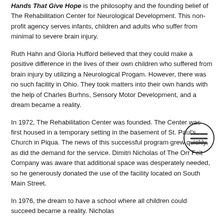Hands That Give Hope is the philosophy and the founding belief of The Rehabilitation Center for Neurological Development. This non-profit agency serves infants, children and adults who suffer from minimal to severe brain injury.
Ruth Hahn and Gloria Hufford believed that they could make a positive difference in the lives of their own children who suffered from brain injury by utilizing a Neurological Progam. However, there was no such facility in Ohio. They took matters into their own hands with the help of Charles Burhns, Sensory Motor Development, and a dream became a reality.
[Figure (illustration): Hamburger menu icon — three horizontal lines inside a circle]
In 1972, The Rehabilitation Center was founded. The Center was first housed in a temporary setting in the basement of St. Paul's Church in Piqua. The news of this successful program grew quickly, as did the demand for the service. Dimitri Nicholas of The Orr Felt Company was aware that additional space was desperately needed, so he generously donated the use of the facility located on South Main Street.
In 1976, the dream to have a school where all children could succeed became a reality. Nicholas